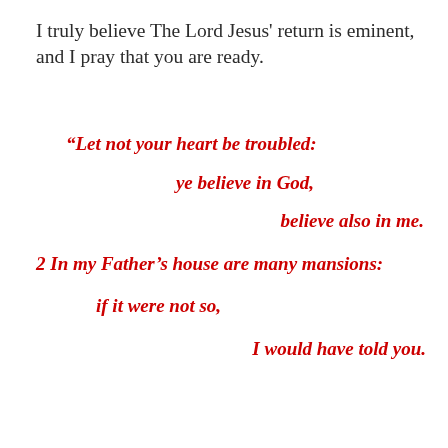I truly believe The Lord Jesus' return is eminent, and I pray that you are ready.
“Let not your heart be troubled: ye believe in God, believe also in me. 2 In my Father’s house are many mansions: if it were not so, I would have told you.